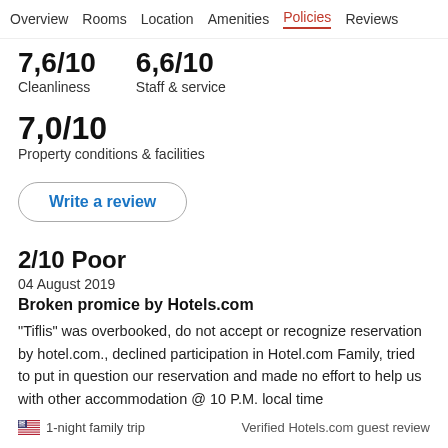Overview   Rooms   Location   Amenities   Policies   Reviews
7,6/10 Cleanliness   6,6/10 Staff & service
7,0/10
Property conditions & facilities
Write a review
2/10 Poor
04 August 2019
Broken promice by Hotels.com
"Tiflis" was overbooked, do not accept or recognize reservation by hotel.com., declined participation in Hotel.com Family, tried to put in question our reservation and made no effort to help us with other accommodation @ 10 P.M. local time
1-night family trip
Verified Hotels.com guest review